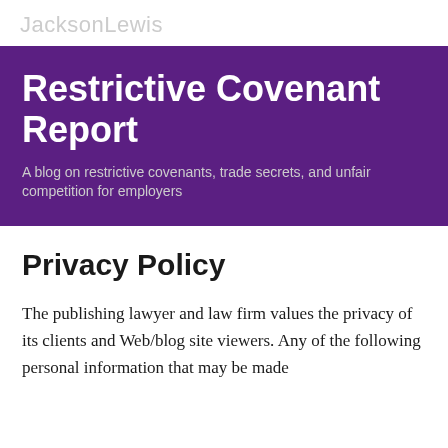JacksonLewis
Restrictive Covenant Report
A blog on restrictive covenants, trade secrets, and unfair competition for employers
Privacy Policy
The publishing lawyer and law firm values the privacy of its clients and Web/blog site viewers. Any of the following personal information that may be made